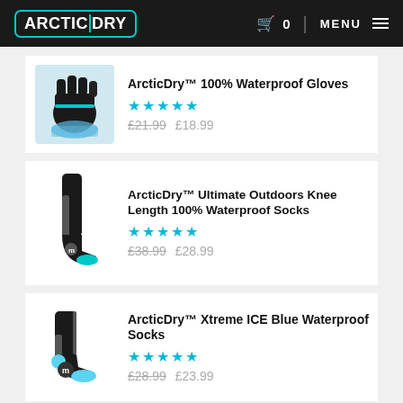ARCTIC DRY  0  MENU
[Figure (photo): Black waterproof gloves submerged in blue water]
ArcticDry™ 100% Waterproof Gloves
★★★★★
£21.99 £18.99
[Figure (photo): Black and grey knee-length waterproof socks]
ArcticDry™ Ultimate Outdoors Knee Length 100% Waterproof Socks
★★★★★
£38.99 £28.99
[Figure (photo): Black and blue waterproof ankle socks]
ArcticDry™ Xtreme ICE Blue Waterproof Socks
★★★★★
£28.99 £23.99